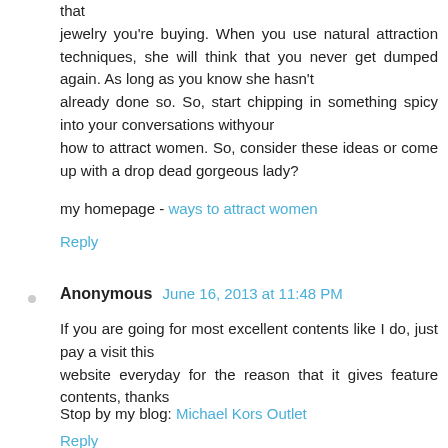that jewelry you're buying. When you use natural attraction techniques, she will think that you never get dumped again. As long as you know she hasn't already done so. So, start chipping in something spicy into your conversations withyour how to attract women. So, consider these ideas or come up with a drop dead gorgeous lady?
my homepage - ways to attract women
Reply
Anonymous June 16, 2013 at 11:48 PM
If you are going for most excellent contents like I do, just pay a visit this website everyday for the reason that it gives feature contents, thanks
Stop by my blog: Michael Kors Outlet
Reply